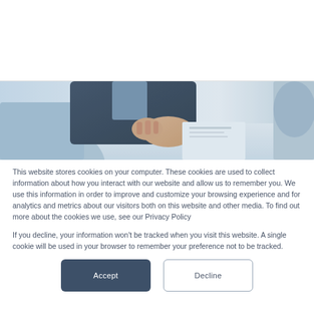[Figure (photo): Cropped photo of people at a desk, showing hands and business attire in a blue-toned office setting]
This website stores cookies on your computer. These cookies are used to collect information about how you interact with our website and allow us to remember you. We use this information in order to improve and customize your browsing experience and for analytics and metrics about our visitors both on this website and other media. To find out more about the cookies we use, see our Privacy Policy
If you decline, your information won’t be tracked when you visit this website. A single cookie will be used in your browser to remember your preference not to be tracked.
Accept
Decline